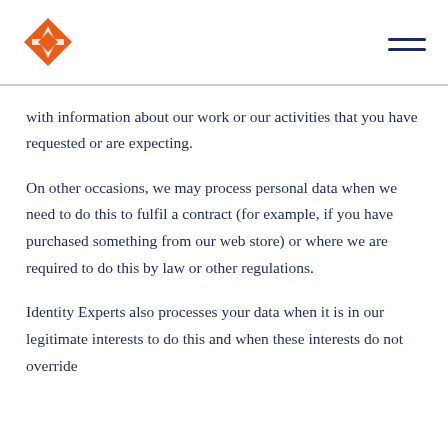[Figure (logo): Identity Experts orange diamond/kite logo with geometric shapes]
with information about our work or our activities that you have requested or are expecting.
On other occasions, we may process personal data when we need to do this to fulfil a contract (for example, if you have purchased something from our web store) or where we are required to do this by law or other regulations.
Identity Experts also processes your data when it is in our legitimate interests to do this and when these interests do not override